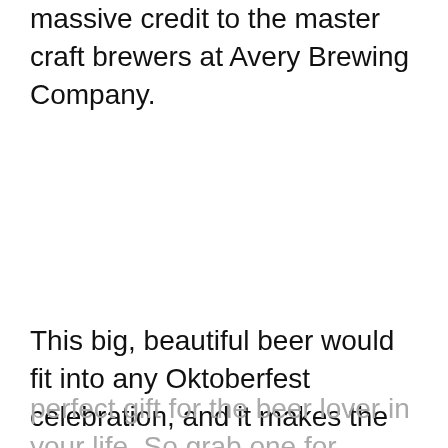massive credit to the master craft brewers at Avery Brewing Company.
This big, beautiful beer would fit into any Oktoberfest celebration, and it makes the perfect gift for the beer lover in your life. So grab one for yourself and celebrate in style with the